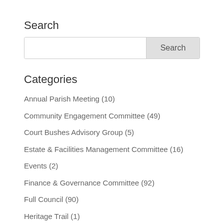Search
[Search input box with Search button]
Categories
Annual Parish Meeting (10)
Community Engagement Committee (49)
Court Bushes Advisory Group (5)
Estate & Facilities Management Committee (16)
Events (2)
Finance & Governance Committee (92)
Full Council (90)
Heritage Trail (1)
Highways & Cycleways Joint Council Working Group (12)